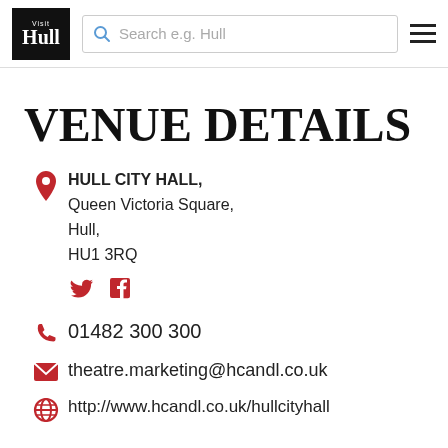Visit Hull — Search e.g. Hull
VENUE DETAILS
HULL CITY HALL, Queen Victoria Square, Hull, HU1 3RQ
01482 300 300
theatre.marketing@hcandl.co.uk
http://www.hcandl.co.uk/hullcityhall